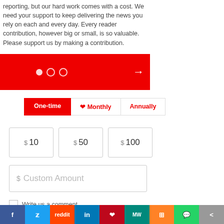reporting, but our hard work comes with a cost. We need your support to keep delivering the news you rely on each and every day. Every reader contribution, however big or small, is so valuable. Please support us by making a contribution.
[Figure (other): Red banner/slider with navigation dots (one filled, two empty) and a right arrow]
One-time | Monthly (heart icon) | Annually — contribution frequency selector
$ 10   $ 50   $ 100 — preset donation amount buttons
$ Custom Amount — custom amount input field
Write us a comment — checkbox with label
f  Twitter  reddit  in  Pinterest  MeWe  Mix  WhatsApp  Share